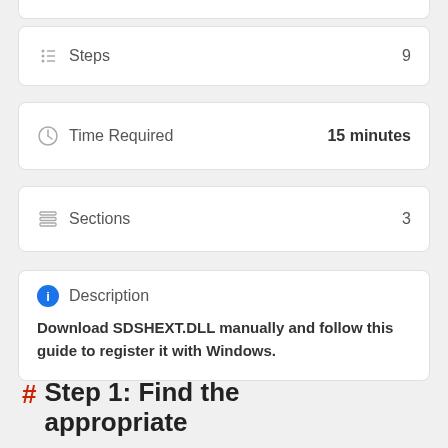Steps  9
Time Required  15 minutes
Sections  3
Description
Download SDSHEXT.DLL manually and follow this guide to register it with Windows.
Step 1: Find the appropriate